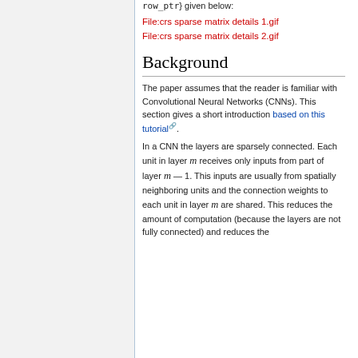row_ptr} given below:
File:crs sparse matrix details 1.gif
File:crs sparse matrix details 2.gif
Background
The paper assumes that the reader is familiar with Convolutional Neural Networks (CNNs). This section gives a short introduction based on this tutorial.
In a CNN the layers are sparsely connected. Each unit in layer m receives only inputs from part of layer m − 1. This inputs are usually from spatially neighboring units and the connection weights to each unit in layer m are shared. This reduces the amount of computation (because the layers are not fully connected) and reduces the